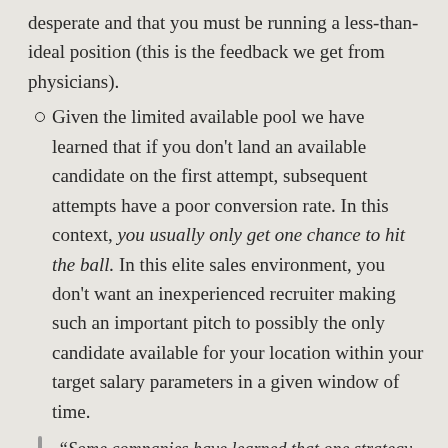desperate and that you must be running a less-than-ideal position (this is the feedback we get from physicians).
Given the limited available pool we have learned that if you don't land an available candidate on the first attempt, subsequent attempts have a poor conversion rate. In this context, you usually only get one chance to hit the ball. In this elite sales environment, you don't want an inexperienced recruiter making such an important pitch to possibly the only candidate available for your location within your target salary parameters in a given window of time.
“Some companies have learned that one strategy to combat the low fill rates of most contingency firms is to simply hire more of them for the same search. This is the kiss of